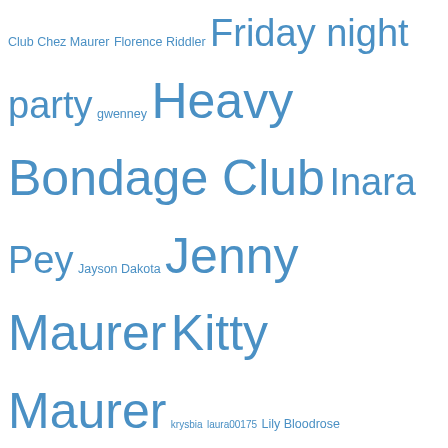Club Chez Maurer Florence Riddler Friday night party gwenney Heavy Bondage Club Inara Pey Jayson Dakota Jenny Maurer Kitty Maurer krysbia laura00175 Lily Bloodrose Living in a Modemworld Lochme Luci Glendale maddh4tt3r Maddy Gynoid Maids in SL Maurers' kitty Mesmerize Dungeon Mistress Jenny Mount Everest papafox57 Poison Fishnet Psi's realm Puerto Esclava Santana Thibedeau Sarah Fhang SaraRandall scoop.it Second Life sklavin Gebby slave Adarra slave Alessi slave cecy slave Christin slave Flo slave Gwendi slave Holly slave kelly slave Luci slave Melissa slave Nina slavin C Starbright Wingtips The Secret House